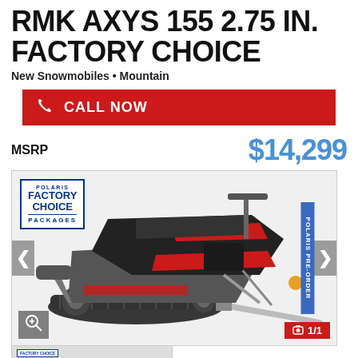RMK AXYS 155 2.75 IN. FACTORY CHOICE
New Snowmobiles • Mountain
CALL NOW
MSRP $14,299
[Figure (photo): Polaris RMK AXYS snowmobile side view on white background with Factory Choice Packages badge, navigation arrows, and 1/1 image counter]
[Figure (photo): Thumbnail of same Polaris RMK AXYS snowmobile]